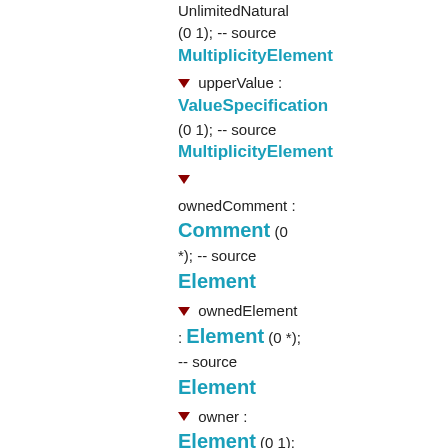UnlimitedNatural
(0 1); -- source
MultiplicityElement
▼ upperValue :
ValueSpecification
(0 1); -- source
MultiplicityElement
▼
ownedComment :
Comment (0
*); -- source
Element
▼ ownedElement
: Element (0 *);
-- source
Element
▼ owner :
Element (0 1);
-- source